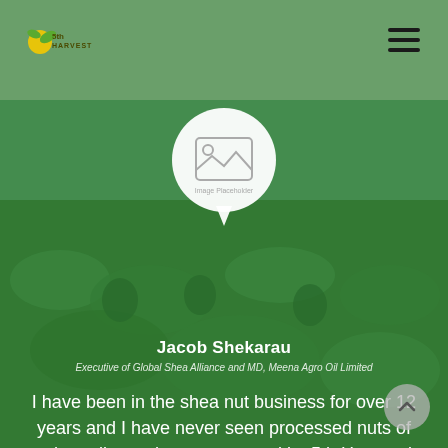5th Harvest logo and navigation
[Figure (photo): Background photo of women workers harvesting in a green shea nut field in Nigeria, with a green color overlay]
[Figure (illustration): White speech bubble with image placeholder icon and text 'Image Placeholder']
Jacob Shekarau
Executive of Global Shea Alliance and MD, Meena Agro Oil Limited
I have been in the shea nut business for over 12 years and I have never seen processed nuts of such quality as those processed by 5th Harvest in Nigeria. Their nuts are well processed and meets the